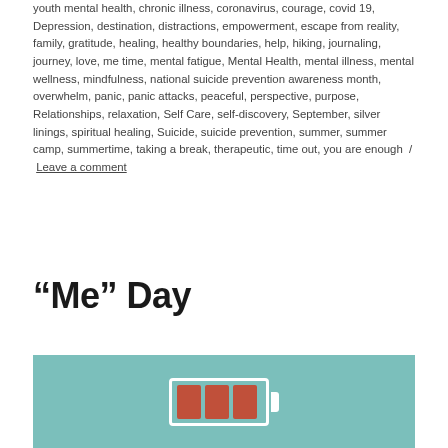youth mental health, chronic illness, coronavirus, courage, covid 19, Depression, destination, distractions, empowerment, escape from reality, family, gratitude, healing, healthy boundaries, help, hiking, journaling, journey, love, me time, mental fatigue, Mental Health, mental illness, mental wellness, mindfulness, national suicide prevention awareness month, overwhelm, panic, panic attacks, peaceful, perspective, purpose, Relationships, relaxation, Self Care, self-discovery, September, silver linings, spiritual healing, Suicide, suicide prevention, summer, summer camp, summertime, taking a break, therapeutic, time out, you are enough / Leave a comment
“Me” Day
[Figure (illustration): A low-battery icon illustration on a teal/mint background. The battery body is outlined in white with three reddish-brown vertical bars inside, indicating low charge.]